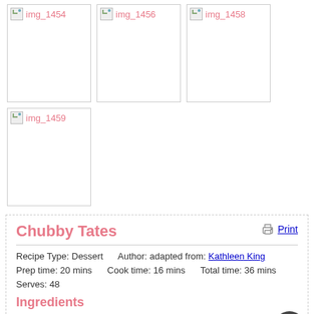[Figure (photo): Broken image placeholder labeled img_1454]
[Figure (photo): Broken image placeholder labeled img_1456]
[Figure (photo): Broken image placeholder labeled img_1458]
[Figure (photo): Broken image placeholder labeled img_1459]
Chubby Tates
Recipe Type: Dessert    Author: adapted from: Kathleen King
Prep time: 20 mins    Cook time: 16 mins    Total time: 36 mins
Serves: 48
Ingredients
2¼ cups all purpose flour